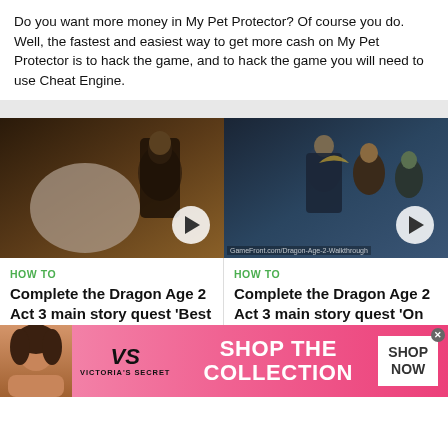Do you want more money in My Pet Protector? Of course you do. Well, the fastest and easiest way to get more cash on My Pet Protector is to hack the game, and to hack the game you will need to use Cheat Engine.
[Figure (screenshot): Two side-by-side video thumbnail cards for Dragon Age 2 walkthrough articles with play buttons, HOW TO labels, titles, bylines, and dates, plus a Victoria's Secret banner advertisement at the bottom.]